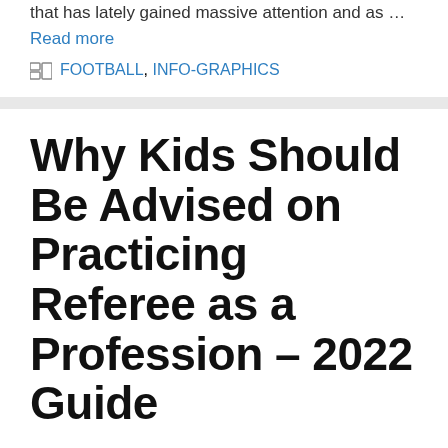that has lately gained massive attention and as … Read more
FOOTBALL, INFO-GRAPHICS
Why Kids Should Be Advised on Practicing Referee as a Profession – 2022 Guide
July 30, 2022 by Wesley Premier